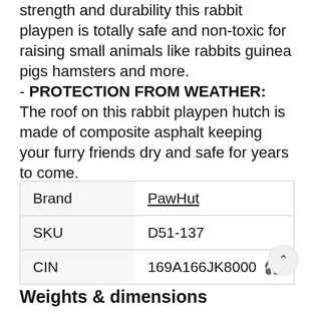strength and durability this rabbit playpen is totally safe and non-toxic for raising small animals like rabbits guinea pigs hamsters and more.
- PROTECTION FROM WEATHER: The roof on this rabbit playpen hutch is made of composite asphalt keeping your furry friends dry and safe for years to come.
| Brand | PawHut |
| SKU | D51-137 |
| CIN | 169A166JK8000 |
Weights & dimensions